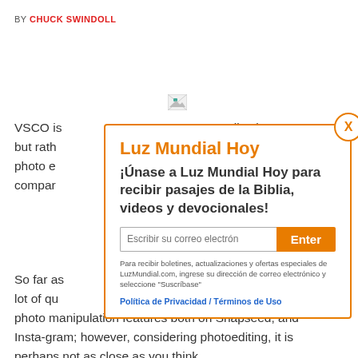BY CHUCK SWINDOLL
[Figure (other): Broken image placeholder icon]
VSCO is a lication but rath around photo e amera compar
[Figure (screenshot): Popup overlay for Luz Mundial Hoy newsletter signup. Title: 'Luz Mundial Hoy'. Subtitle: '¡Únase a Luz Mundial Hoy para recibir pasajes de la Biblia, videos y devocionales!' Email input: 'Escribir su correo electrón'. Button: 'Enter'. Description text: 'Para recibir boletines, actualizaciones y ofertas especiales de LuzMundial.com, ingrese su dirección de correo electrónico y seleccione "Suscríbase"'. Links: 'Política de Privacidad / Términos de Uso'. Close button: X.]
So far as udes a lot of qu its own photo manipulation features both on Snapseed, and Insta-gram; however, considering photoediting, it is perhaps not as close as you think.